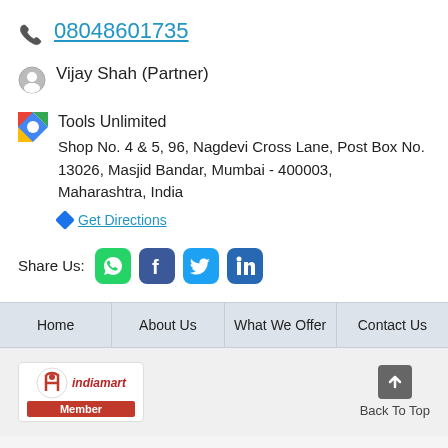08048601735
Vijay Shah (Partner)
Tools Unlimited
Shop No. 4 & 5, 96, Nagdevi Cross Lane, Post Box No. 13026, Masjid Bandar, Mumbai - 400003, Maharashtra, India
Get Directions
Share Us:
Home | About Us | What We Offer | Contact Us
[Figure (logo): IndiaMART Member logo with red circular M icon and red Member badge]
Back To Top